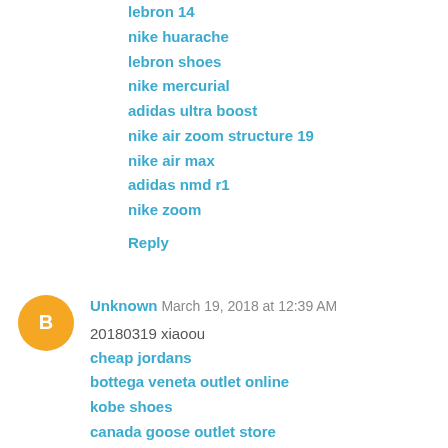lebron 14
nike huarache
lebron shoes
nike mercurial
adidas ultra boost
nike air zoom structure 19
nike air max
adidas nmd r1
nike zoom
Reply
Unknown  March 19, 2018 at 12:39 AM
20180319 xiaoou
cheap jordans
bottega veneta outlet online
kobe shoes
canada goose outlet store
coach outlet
longchamp pliage
ferragamo outlet
nike shoes outlet